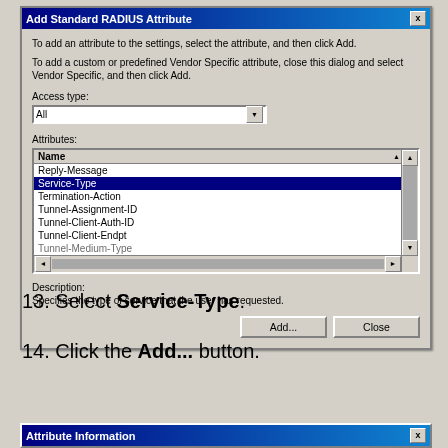[Figure (screenshot): Windows dialog box titled 'Add Standard RADIUS Attribute' with instructions, Access type dropdown set to 'All', Attributes listbox with 'Service-Type' selected (highlighted in blue), showing items: Reply-Message, Service-Type (selected), Termination-Action, Tunnel-Assignment-ID, Tunnel-Client-Auth-ID, Tunnel-Client-Endpt, Tunnel-Medium-Type (partially visible). Description section reads 'Specifies the type of service that the user has requested.' Buttons: Add... and Close.]
13. Select Service-Type.
14. Click the Add... button.
[Figure (screenshot): Partial Windows dialog box titled 'Attribute Information' visible at bottom of page.]